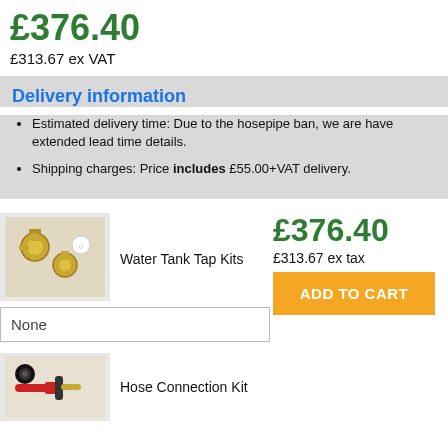£376.40
£313.67 ex VAT
Delivery information
Estimated delivery time: Due to the hosepipe ban, we are have extended lead time details.
Shipping charges: Price includes £55.00+VAT delivery.
[Figure (photo): Water Tank Tap Kits product image showing brass fittings]
Water Tank Tap Kits
£376.40
£313.67 ex tax
None
ADD TO CART
[Figure (photo): Hose Connection Kit product image]
Hose Connection Kit